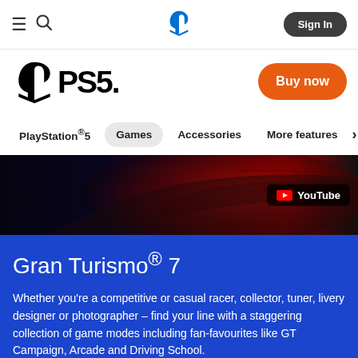≡ 🔍 [PlayStation logo] Sign In
[Figure (logo): PS5 logo with PlayStation symbol on left and PS5 text on right]
Buy now
PlayStation®5  Games  Accessories  More features >
[Figure (photo): Gran Turismo 7 car detail hero image showing red and dark car with YouTube badge overlay]
Gran Turismo® 7
Whether you're a competitive or casual racer, collector, tuner, livery designer or photographer – find your line with a staggering collection of game modes including fan-favourites like GT Campaign, Arcade and Driving School.